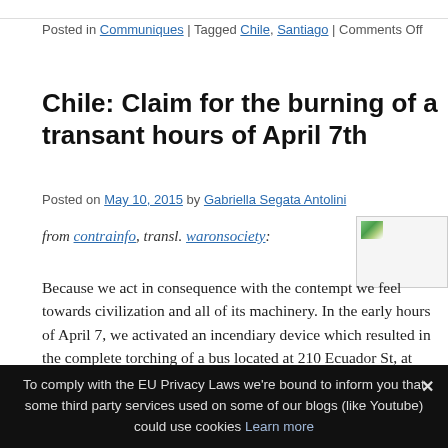Posted in Communiques | Tagged Chile, Santiago | Comments Off
Chile: Claim for the burning of a transant hours of April 7th
Posted on May 10, 2015 by Gabriella Segata Antolini
from contrainfo, transl. waronsociety:
[Figure (photo): Small thumbnail image, partially visible, appears to show a green outdoor scene]
Because we act in consequence with the contempt we feel towards civilization and all of its machinery. In the early hours of April 7, we activated an incendiary device which resulted in the complete torching of a bus located at 210 Ecuador St, at the corner of Concon in the
To comply with the EU Privacy Laws we're bound to inform you that some third party services used on some of our blogs (like Youtube) could use cookies Learn more